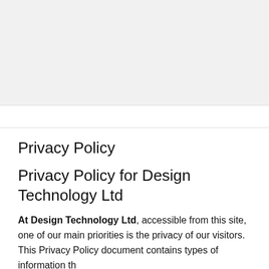Privacy Policy
Privacy Policy for Design Technology Ltd
At Design Technology Ltd, accessible from this site, one of our main priorities is the privacy of our visitors. This Privacy Policy document contains types of information that is collected and recorded by this site and how we use it.